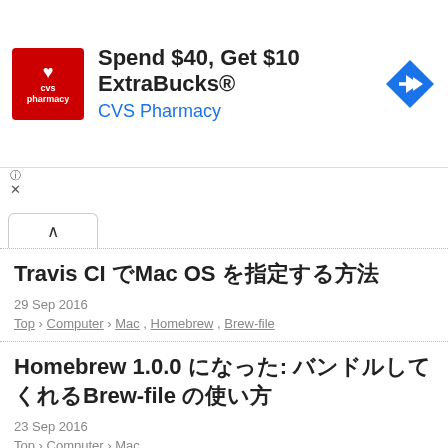[Figure (other): CVS Pharmacy advertisement banner: red CVS pharmacy logo on left, text 'Spend $40, Get $10 ExtraBucks® CVS Pharmacy' in center, blue diamond navigation arrow icon on right]
Travis CI でMacのOSを指定する方法
29 Sep 2016
Top › Computer › Mac , Homebrew , Brew-file
Homebrew 1.0.0になった: バンドルしてくれるBrewfileの使い方
23 Sep 2016
Top › Computer › Mac
macOS Sierra にアップグレードしたらやること一覧